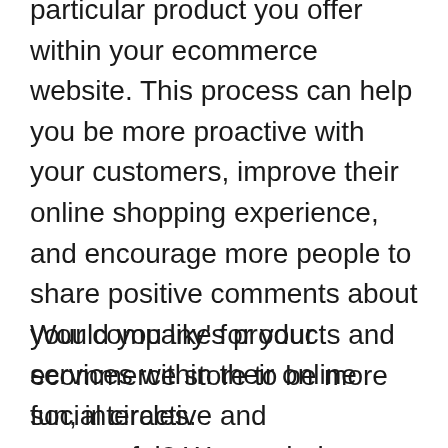particular product you offer within your ecommerce website. This process can help you be more proactive with your customers, improve their online shopping experience, and encourage more people to share positive comments about your company's products and services within their online social circles.
Would you like for your ecommerce store to be more fun, interactive and successful? We can help you have an ecommerce website that your